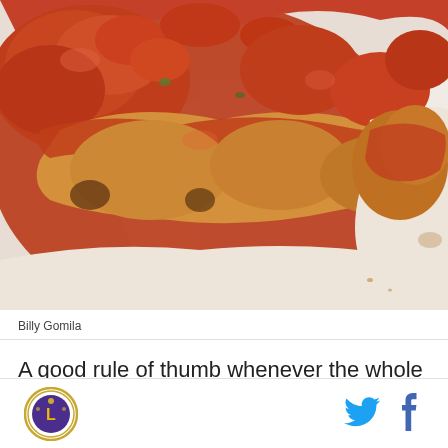[Figure (photo): Close-up photo of a meat dish covered in red Creole tomato sauce served on a white plate. The food appears to be chicken or pork in a thick, chunky tomato-based sauce.]
Billy Gomila
A good rule of thumb whenever the whole “Creole vs. Cajun” thing comes up on cooking is that Creole – city
[Figure (logo): Circular logo with gold border featuring a purple and gold design, appears to be a Louisiana-themed sports logo]
[Figure (logo): Twitter bird social media icon in cyan/blue color]
[Figure (logo): Facebook 'f' social media icon in blue color]